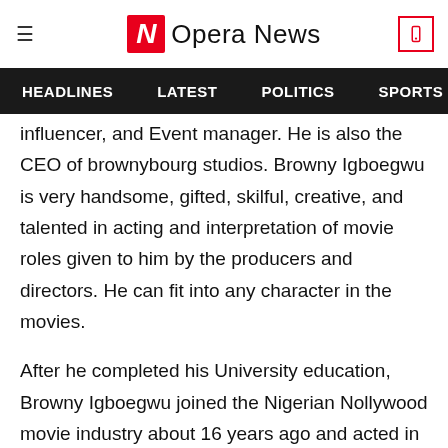Opera News
HEADLINES   LATEST   POLITICS   SPORTS
influencer, and Event manager. He is also the CEO of brownybourg studios. Browny Igboegwu is very handsome, gifted, skilful, creative, and talented in acting and interpretation of movie roles given to him by the producers and directors. He can fit into any character in the movies.
After he completed his University education, Browny Igboegwu joined the Nigerian Nollywood movie industry about 16 years ago and acted in his first movie titled "Expensive Error" alongside popular actor. Hanks